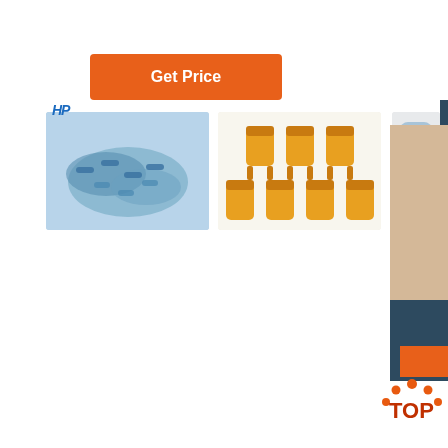[Figure (other): Orange 'Get Price' button]
[Figure (photo): HP logo and product images: blue wire connectors, yellow ring terminals, small cylindrical connectors]
[Figure (photo): 24/7 Online customer service representative with headset, dark teal banner]
[Figure (other): Click here for free chat! orange QUOTATION button panel]
Machine Manufacturers - Machine Directory - T1
The most qualified machine manufacturers online B2B
Automotive Shop Aluminum Repair Questions
2016-7-27u2002·u2002Contact him at (763) 585-6411 or
Our Rail
Nation is the only railcar company certified ISO 9001:2008. We have been honoured with the annual TTX 5600
[Figure (logo): TOP badge with orange dots]